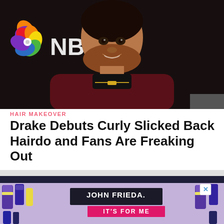[Figure (photo): Photo of Drake smiling at an event, wearing a dark maroon/burgundy suit jacket over a black shirt with a gold necklace. NBC logo visible in background on dark backdrop.]
HAIR MAKEOVER
Drake Debuts Curly Slicked Back Hairdo and Fans Are Freaking Out
[Figure (photo): John Frieda advertisement on lavender/purple background with hair care product bottles scattered around. Text reads: JOHN FRIEDA. IT'S FOR ME SHOP NOW with an X close button.]